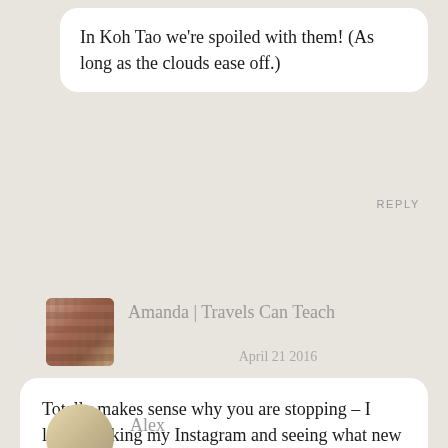In Koh Tao we're spoiled with them! (As long as the clouds ease off.)
REPLY
[Figure (photo): Profile photo of Amanda in a bookstore]
Amanda | Travels Can Teach
April 21 2016
Totally makes sense why you are stopping – I love checking my Instagram and seeing what new adventure you are onto next...it's an inspiring start to my day 🙂
REPLY
[Figure (photo): Profile photo of Alex]
Alex